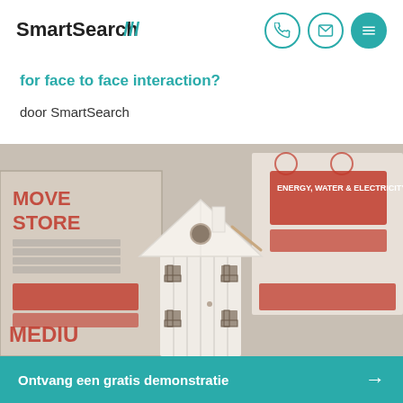[Figure (logo): SmartSearch logo with triple slash mark]
for face to face interaction?
door SmartSearch
[Figure (photo): A small white wooden birdhouse/model house in front of moving boxes labeled MOVE STORE and MEDIU, with a red and white box in the background.]
Ontvang een gratis demonstratie →